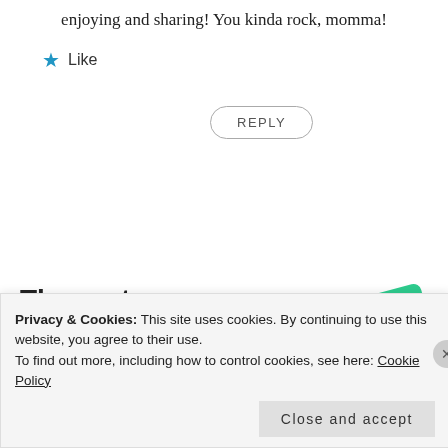enjoying and sharing! You kinda rock, momma!
★ Like
REPLY
[Figure (infographic): Advertisement for a podcast app. Text reads 'The go-to app for podcast lovers.' with 'Download now' in red/orange. Right side shows stylized podcast app cards including '99% Invisible' on a black grid card, a green card with cursive text, and a blue card.]
Privacy & Cookies: This site uses cookies. By continuing to use this website, you agree to their use. To find out more, including how to control cookies, see here: Cookie Policy
Close and accept